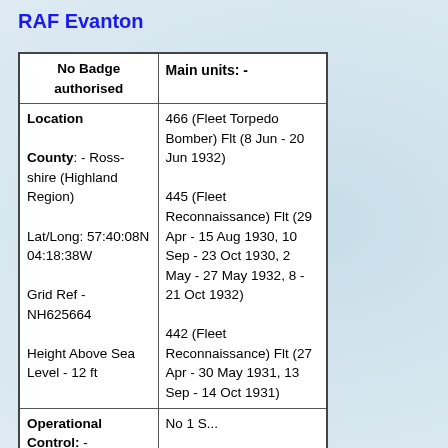RAF Evanton
| No Badge authorised | Main units: - |
| Location

County: - Ross-shire (Highland Region)

Lat/Long: 57:40:08N 04:18:38W

Grid Ref - NH625664

Height Above Sea Level - 12 ft | 466 (Fleet Torpedo Bomber) Flt (8 Jun - 20 Jun 1932)

445 (Fleet Reconnaissance) Flt (29 Apr - 15 Aug 1930, 10 Sep - 23 Oct 1930, 2 May - 27 May 1932, 8 - 21 Oct 1932)

442 (Fleet Reconnaissance) Flt (27 Apr - 30 May 1931, 13 Sep - 14 Oct 1931) |
| Operational Control: -

Opened - 1922 (Novar), 1937 | No 1 S... |